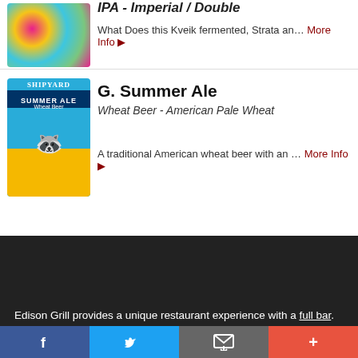[Figure (photo): Tie-dye colored beer label/can image (partial, top cropped)]
IPA - Imperial / Double
What Does this Kveik fermented, Strata an… More Info ▶
[Figure (photo): Shipyard Summer Ale beer can/label image with blue background and yellow bottom]
G. Summer Ale
Wheat Beer - American Pale Wheat
A traditional American wheat beer with an … More Info ▶
[Figure (infographic): Social media icons: Facebook, Twitter, YouTube, Instagram on dark background]
Edison Grill provides a unique restaurant experience with a full bar. We serve breakfast, lunch and dinner and are located on Route 4 in Harwinton.
Facebook | Twitter | Email/Share | Plus